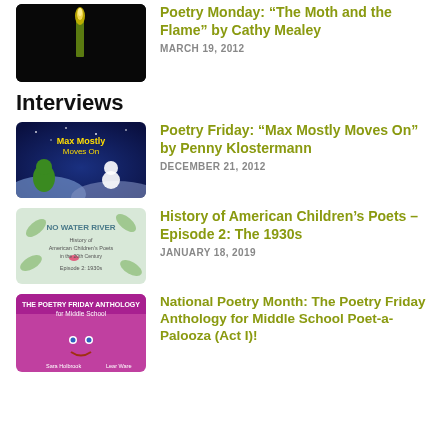[Figure (photo): Dark background thumbnail image showing a candle with flame against black backdrop]
Poetry Monday: “The Moth and the Flame” by Cathy Mealey
MARCH 19, 2012
Interviews
[Figure (photo): Colorful Christmas-themed thumbnail image for Max Mostly Moves On by Penny Klostermann, featuring a green character and snowman on a night sky background]
Poetry Friday: “Max Mostly Moves On” by Penny Klostermann
DECEMBER 21, 2012
[Figure (photo): Thumbnail image for History of American Children's Poets Episode 2: The 1930s, with No Water River text and leaf designs on light background]
History of American Children’s Poets – Episode 2: The 1930s
JANUARY 18, 2019
[Figure (photo): Purple/magenta thumbnail for The Poetry Friday Anthology for Middle School book cover]
National Poetry Month: The Poetry Friday Anthology for Middle School Poet-a-Palooza (Act I)!